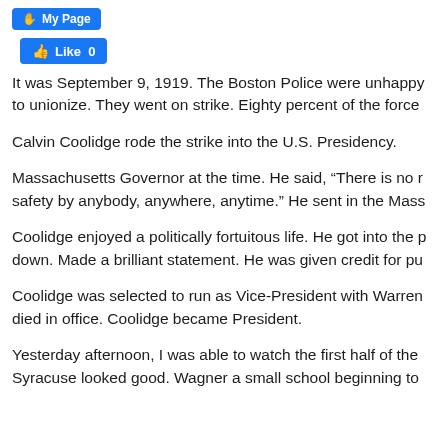[Figure (screenshot): Facebook 'My Page' button — blue rounded rectangle with person icon and text 'My Page']
[Figure (screenshot): Facebook 'Like 0' button — blue rounded rectangle with thumbs-up icon and text 'Like 0']
It was September 9, 1919. The Boston Police were unhappy to unionize. They went on strike. Eighty percent of the force
Calvin Coolidge rode the strike into the U.S. Presidency.
Massachusetts Governor at the time. He said, “There is no r safety by anybody, anywhere, anytime.” He sent in the Mass
Coolidge enjoyed a politically fortuitous life. He got into the p down. Made a brilliant statement. He was given credit for pu
Coolidge was selected to run as Vice-President with Warren died in office. Coolidge became President.
Yesterday afternoon, I was able to watch the first half of the Syracuse looked good. Wagner a small school beginning to